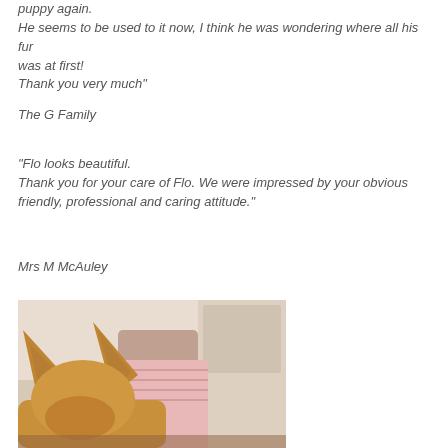puppy again.
He seems to be used to it now, I think he was wondering where all his fur
was at first!
Thank you very much"
The G Family
"Flo looks beautiful.
Thank you for your care of Flo. We were impressed by your obvious friendly, professional and caring attitude."
Mrs M McAuley
[Figure (photo): A dog with large ears seen from behind, sitting near a person, indoor setting with a door visible in the background.]